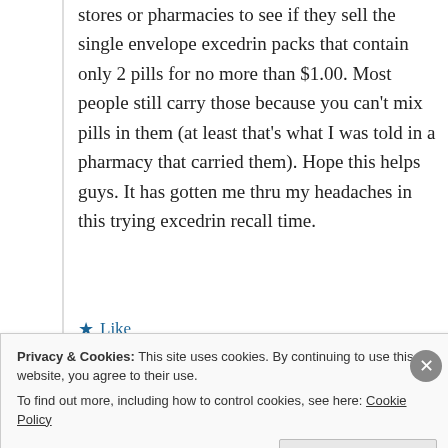stores or pharmacies to see if they sell the single envelope excedrin packs that contain only 2 pills for no more than $1.00. Most people still carry those because you can't mix pills in them (at least that's what I was told in a pharmacy that carried them). Hope this helps guys. It has gotten me thru my headaches in this trying excedrin recall time.
★ Like
↪ Reply
Privacy & Cookies: This site uses cookies. By continuing to use this website, you agree to their use.
To find out more, including how to control cookies, see here: Cookie Policy
Close and accept